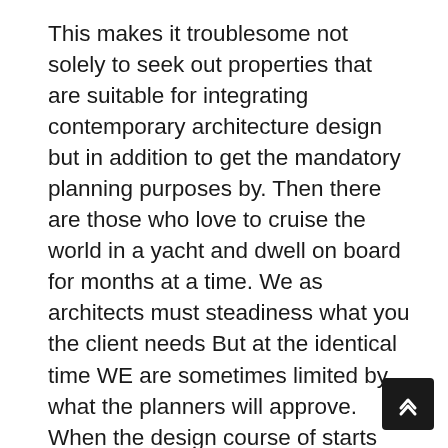This makes it troublesome not solely to seek out properties that are suitable for integrating contemporary architecture design but in addition to get the mandatory planning purposes by. Then there are those who love to cruise the world in a yacht and dwell on board for months at a time. We as architects must steadiness what you the client needs But at the identical time WE are sometimes limited by what the planners will approve. When the design course of starts from the beginning of the temporary your architect, through expertise, goes to know what will each be just right for you the consumer and what's going to get planning approval the place it's wanted. Architects in Hampstead, maramani house plan London and Kensington specifically will know that homes in these areas are 'interval' properties with new housing inventory coming on to the market which can be usually flats - homes are uncommon. Some of those